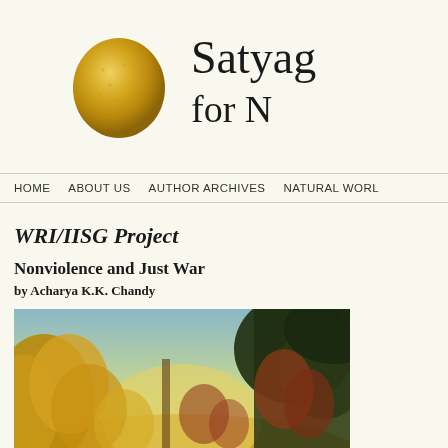[Figure (logo): Gold/yellow circular orb logo for Satyagraha website]
Satyag... for N...
HOME   ABOUT US   AUTHOR ARCHIVES   NATURAL WORL...
WRI/IISG Project
Nonviolence and Just War
by Acharya K.K. Chandy
[Figure (photo): Landscape painting showing trees with golden and reddish-brown foliage against a light sky, appearing to be a classical nature painting]